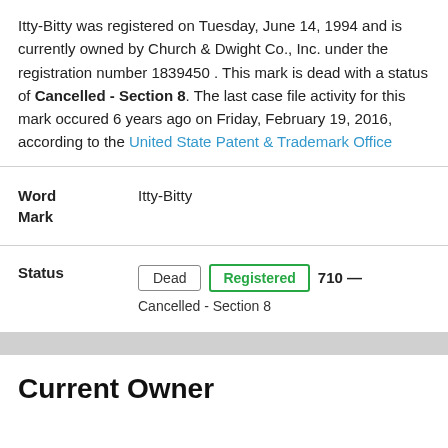Itty-Bitty was registered on Tuesday, June 14, 1994 and is currently owned by Church & Dwight Co., Inc. under the registration number 1839450 . This mark is dead with a status of Cancelled - Section 8. The last case file activity for this mark occured 6 years ago on Friday, February 19, 2016, according to the United State Patent & Trademark Office
| Field | Value |
| --- | --- |
| Word Mark | Itty-Bitty |
| Field | Value |
| --- | --- |
| Status | Dead / Registered / 710 — Cancelled - Section 8 |
Current Owner